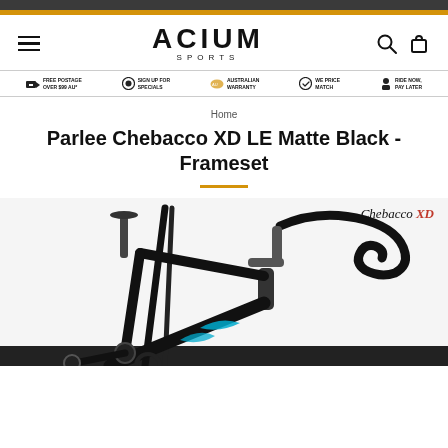ACIUM SPORTS — Navigation header with logo, hamburger menu, search and cart icons
FREE POSTAGE OVER $99 AU* | SIGN UP FOR SPECIALS | AUSTRALIAN WARRANTY | WE PRICE MATCH | RIDE NOW, PAY LATER
Home
Parlee Chebacco XD LE Matte Black - Frameset
[Figure (photo): Photo of the Parlee Chebacco XD bicycle frameset in matte black with teal accents. Shows handlebar, fork, and frame detail. 'Chebacco XD' logo in top right corner of the image.]